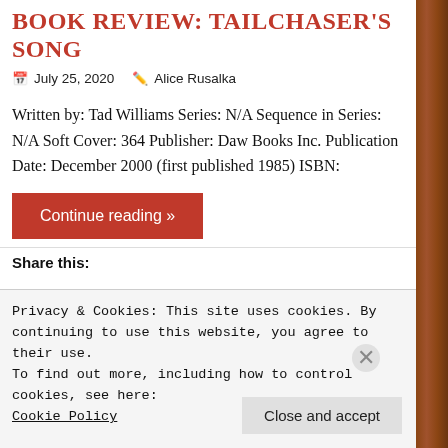BOOK REVIEW: TAILCHASER'S SONG
July 25, 2020   Alice Rusalka
Written by: Tad Williams Series: N/A Sequence in Series: N/A Soft Cover: 364 Publisher: Daw Books Inc. Publication Date: December 2000 (first published 1985) ISBN:
Continue reading »
Share this:
Privacy & Cookies: This site uses cookies. By continuing to use this website, you agree to their use.
To find out more, including how to control cookies, see here:
Cookie Policy
Close and accept